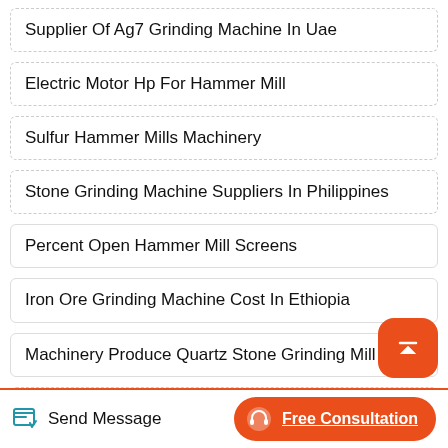Supplier Of Ag7 Grinding Machine In Uae
Electric Motor Hp For Hammer Mill
Sulfur Hammer Mills Machinery
Stone Grinding Machine Suppliers In Philippines
Percent Open Hammer Mill Screens
Iron Ore Grinding Machine Cost In Ethiopia
Machinery Produce Quartz Stone Grinding Mill
Grinding Machine Policy Sector Nigeria